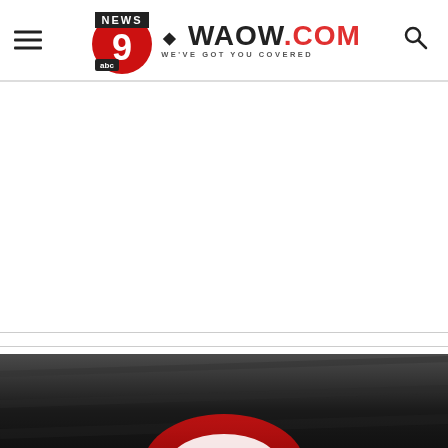NEWS 9 WAOW.COM — WE'VE GOT YOU COVERED
[Figure (photo): Basketball or sports-themed photo at bottom of page, black and white with red accent, partial view]
[Figure (logo): WAOW News 9 ABC affiliate logo with red 9 icon and text WAOW.COM — WE'VE GOT YOU COVERED]